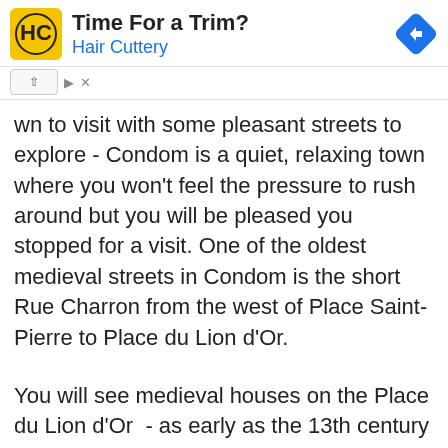[Figure (infographic): Advertisement banner for Hair Cuttery showing logo, title 'Time For a Trim?', subtitle 'Hair Cuttery', and a blue navigation diamond icon on the right.]
wn to visit with some pleasant streets to explore - Condom is a quiet, relaxing town where you won't feel the pressure to rush around but you will be pleased you stopped for a visit. One of the oldest medieval streets in Condom is the short Rue Charron from the west of Place Saint-Pierre to Place du Lion d'Or.
You will see medieval houses on the Place du Lion d'Or  - as early as the 13th century this square was a regional centre for trading Armagnac. There are also some grand 18th century townhouses with stone balustrades and ironwork balconies here